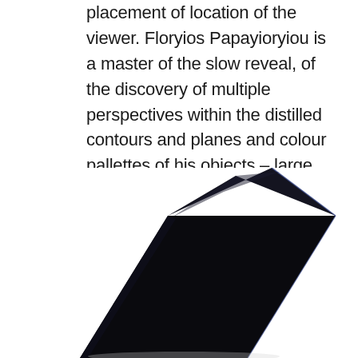placement of location of the viewer. Floryios Papayioryiou is a master of the slow reveal, of the discovery of multiple perspectives within the distilled contours and planes and colour pallettes of his objects – large and small.
[Figure (photo): A dark, glossy black elongated rectangular object (possibly a sculpture or art piece) photographed at an angle against a white background. A thin blue/white highlight line is visible along one edge.]